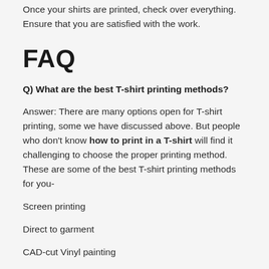Once your shirts are printed, check over everything. Ensure that you are satisfied with the work.
FAQ
Q) What are the best T-shirt printing methods?
Answer: There are many options open for T-shirt printing, some we have discussed above. But people who don't know how to print in a T-shirt will find it challenging to choose the proper printing method. These are some of the best T-shirt printing methods for you-
Screen printing
Direct to garment
CAD-cut Vinyl painting
Inkjet and laser iron
Plastisol transfer technique